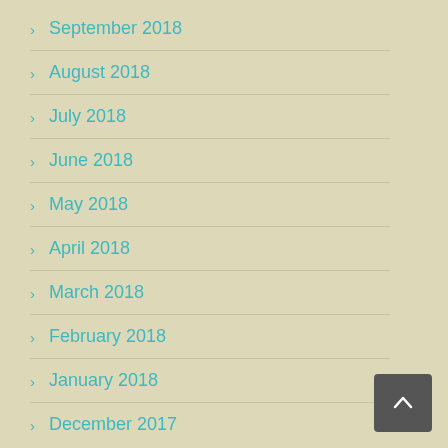September 2018
August 2018
July 2018
June 2018
May 2018
April 2018
March 2018
February 2018
January 2018
December 2017